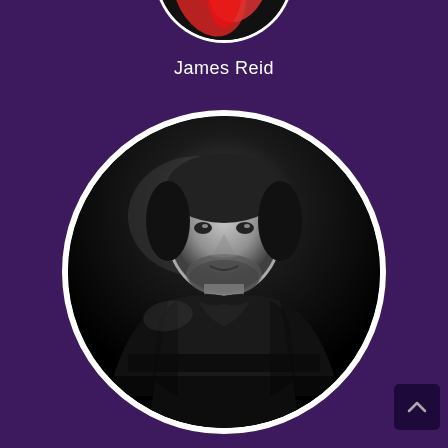[Figure (photo): Partial circular photo at top of page showing colorful red/orange elements, cropped circle with white border on purple background]
James Reid
[Figure (photo): Black and white portrait photo of a man wearing a leather jacket, shown in a circular frame with white border on a purple background]
[Figure (other): Small dark purple scroll-to-top button with upward chevron arrow in bottom right corner]